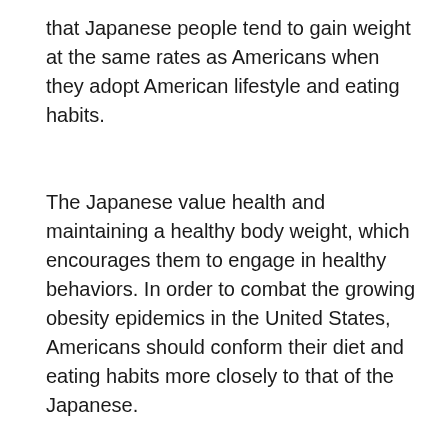that Japanese people tend to gain weight at the same rates as Americans when they adopt American lifestyle and eating habits.
The Japanese value health and maintaining a healthy body weight, which encourages them to engage in healthy behaviors. In order to combat the growing obesity epidemics in the United States, Americans should conform their diet and eating habits more closely to that of the Japanese.